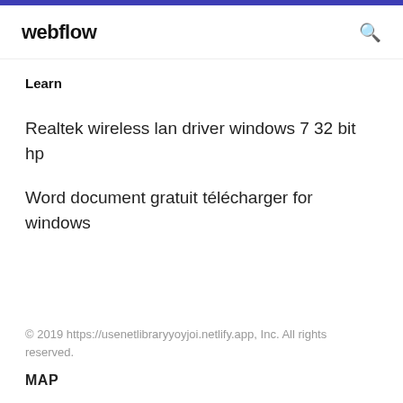webflow
Learn
Realtek wireless lan driver windows 7 32 bit hp
Word document gratuit télécharger for windows
© 2019 https://usenetlibraryyoyjoi.netlify.app, Inc. All rights reserved.
MAP